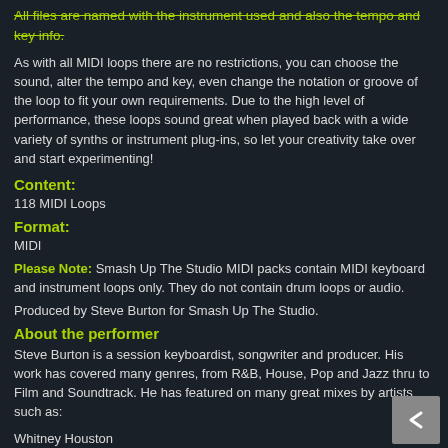All files are named with the instrument used and also the tempo and key info.
As with all MIDI loops there are no restrictions, you can choose the sound, alter the tempo and key, even change the notation or groove of the loop to fit your own requirements. Due to the high level of performance, these loops sound great when played back with a wide variety of synths or instrument plug-ins, so let your creativity take over and start experimenting!
Content:
118 MIDI Loops
Format:
MIDI
Please Note: Smash Up The Studio MIDI packs contain MIDI keyboard and instrument loops only. They do not contain drum loops or audio.
Produced by Steve Burton for Smash Up The Studio.
About the performer
Steve Burton is a session keyboardist, songwriter and producer. His work has covered many genres, from R&B, House, Pop and Jazz thru to Film and Soundtrack. He has featured on many great mixes by artists such as:
Whitney Houston
Janet Jackson
Babyface
George Michael
Mary J Blige
Justin Timberlake